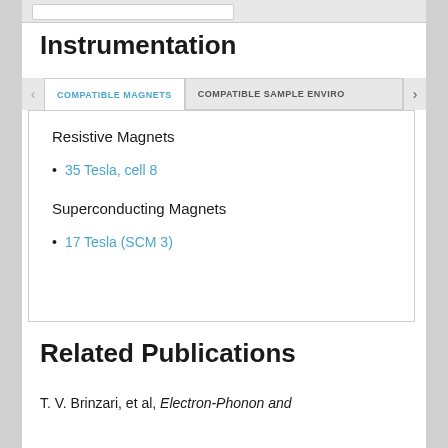Instrumentation
COMPATIBLE MAGNETS | COMPATIBLE SAMPLE ENVIRO
Resistive Magnets
35 Tesla, cell 8
Superconducting Magnets
17 Tesla (SCM 3)
Related Publications
T. V. Brinzari, et al, Electron-Phonon and